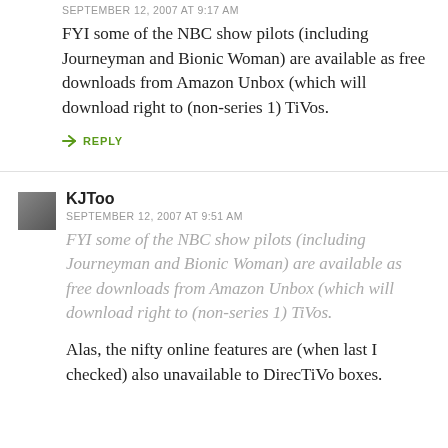SEPTEMBER 12, 2007 AT 9:17 AM
FYI some of the NBC show pilots (including Journeyman and Bionic Woman) are available as free downloads from Amazon Unbox (which will download right to (non-series 1) TiVos.
↳ REPLY
KJToo
SEPTEMBER 12, 2007 AT 9:51 AM
FYI some of the NBC show pilots (including Journeyman and Bionic Woman) are available as free downloads from Amazon Unbox (which will download right to (non-series 1) TiVos.
Alas, the nifty online features are (when last I checked) also unavailable to DirecTiVo boxes.